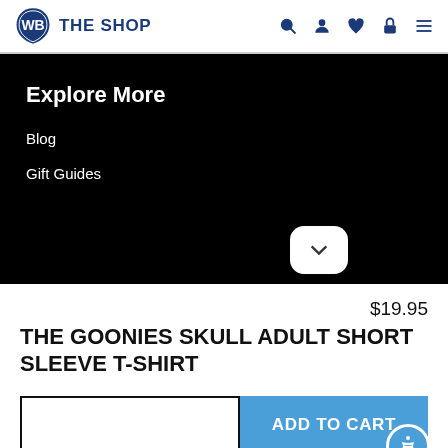WB THE SHOP
Explore More
Blog
Gift Guides
$19.95
THE GOONIES SKULL ADULT SHORT SLEEVE T-SHIRT
ADD TO CART